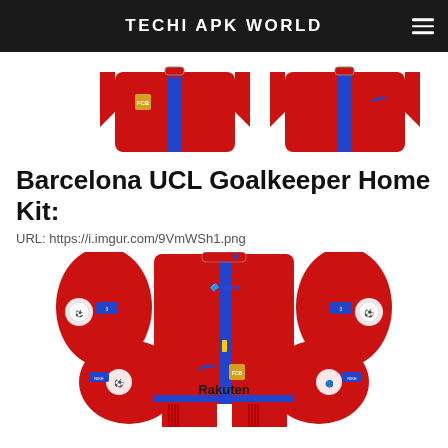TECHI APK WORLD
[Figure (illustration): Barcelona UCL goalkeeper kit top view showing two red jerseys with blue stripe]
Barcelona UCL Goalkeeper Home Kit:
URL: https://i.imgur.com/9VmWSh1.png
[Figure (illustration): Barcelona UCL Goalkeeper Home Kit sprite layout for Dream League Soccer - red kit with blue stripe, Rakuten sponsor, Nike logo, UCL badges]